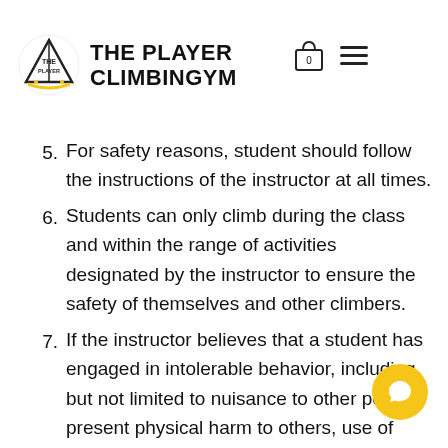THE PLAYER CLIMBINGYM
wear gym nt.
5. For safety reasons, student should follow the instructions of the instructor at all times.
6. Students can only climb during the class and within the range of activities designated by the instructor to ensure the safety of themselves and other climbers.
7. If the instructor believes that a student has engaged in intolerable behavior, including but not limited to nuisance to other people, present physical harm to others, use of words or actions that may be offensive or